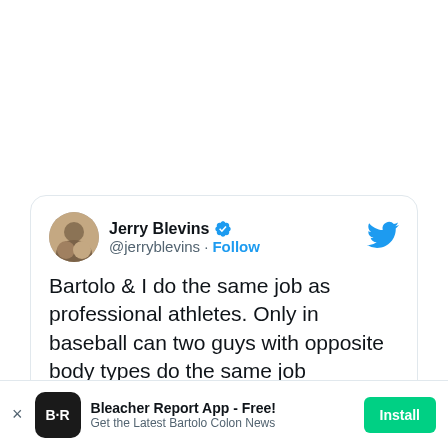[Figure (screenshot): Tweet card from Jerry Blevins (@jerryblevins) with verified badge. Tweet text: 'Bartolo & I do the same job as professional athletes. Only in baseball can two guys with opposite body types do the same job'. Timestamp: 2:54 AM · Oct 13, 2015. Actions: 250 likes, Reply, Copy link.]
Bartolo & I do the same job as professional athletes. Only in baseball can two guys with opposite body types do the same job
2:54 AM · Oct 13, 2015
Bleacher Report App - Free! Get the Latest Bartolo Colon News